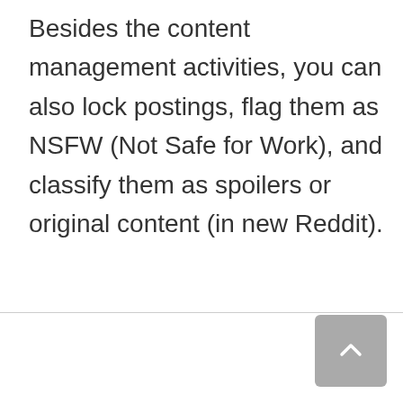Besides the content management activities, you can also lock postings, flag them as NSFW (Not Safe for Work), and classify them as spoilers or original content (in new Reddit).